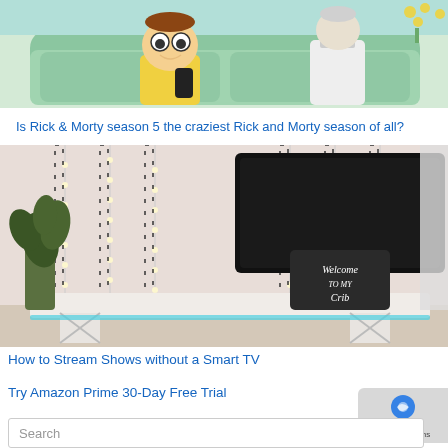[Figure (illustration): Animated cartoon image showing Morty and Rick from Rick & Morty sitting on a green couch. Morty holds a remote control and wears a yellow shirt, Rick wears a white lab coat. Background shows a room with teal/green decor and yellow flowers.]
Is Rick & Morty season 5 the craziest Rick and Morty season of all?
[Figure (photo): Photo of a decorated living room with fairy lights hanging on the wall, a large flat-screen TV mounted on the wall, a black chalkboard sign reading 'Welcome To My Crib', a large green houseplant, and a white TV stand with blue LED lights underneath.]
How to Stream Shows without a Smart TV
Try Amazon Prime 30-Day Free Trial
Search